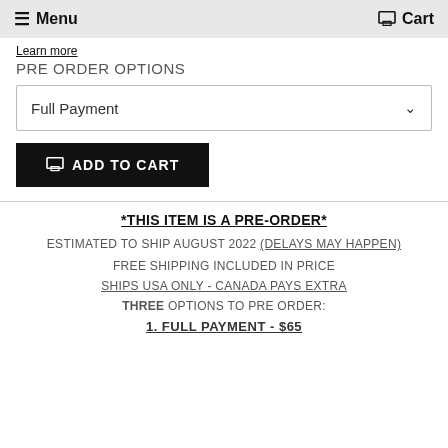Menu  Cart
Learn more
PRE ORDER OPTIONS
Full Payment (dropdown)
ADD TO CART
*THIS ITEM IS A PRE-ORDER*
ESTIMATED TO SHIP AUGUST 2022 (DELAYS MAY HAPPEN)
FREE SHIPPING INCLUDED IN PRICE
SHIPS USA ONLY - CANADA PAYS EXTRA
THREE OPTIONS TO PRE ORDER:
1. FULL PAYMENT - $65